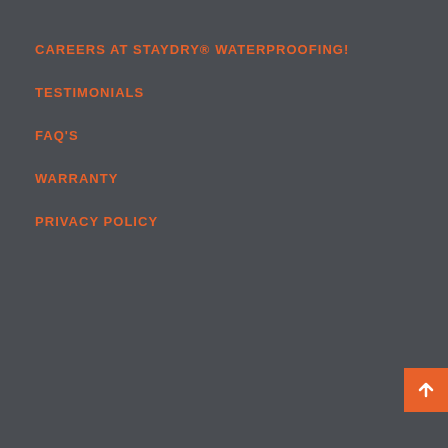CAREERS AT STAYDRY® WATERPROOFING!
TESTIMONIALS
FAQ'S
WARRANTY
PRIVACY POLICY
[Figure (other): Back to top button with upward arrow, orange background, bottom-right corner]